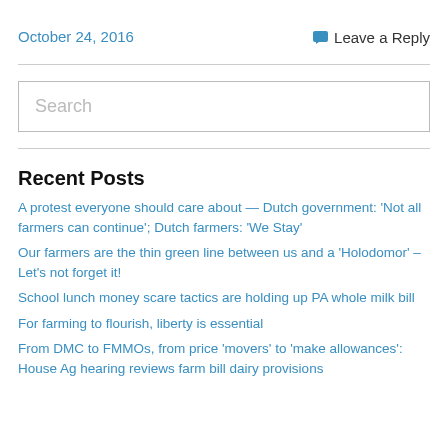October 24, 2016
Leave a Reply
Search
Recent Posts
A protest everyone should care about — Dutch government: 'Not all farmers can continue'; Dutch farmers: 'We Stay'
Our farmers are the thin green line between us and a 'Holodomor' – Let's not forget it!
School lunch money scare tactics are holding up PA whole milk bill
For farming to flourish, liberty is essential
From DMC to FMMOs, from price 'movers' to 'make allowances': House Ag hearing reviews farm bill dairy provisions